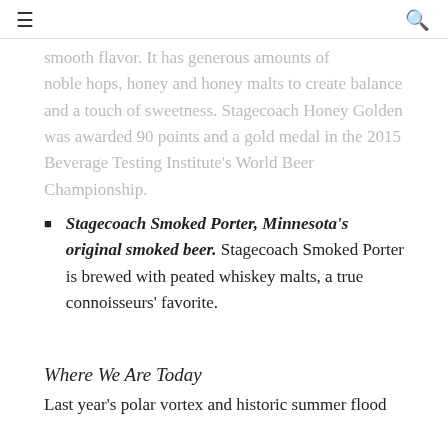≡  🔍
smooth flavor. It has generous amounts of noble hops, honey and honey malts to create balance and a touch of sweetness. Stagecoach Honey Golden was awarded 90 points and a gold medal in the 2015 Beverage Testing Institute's World Beer Championship.
Stagecoach Smoked Porter, Minnesota's original smoked beer. Stagecoach Smoked Porter is brewed with peated whiskey malts, a true connoisseurs' favorite.
Where We Are Today
Last year's polar vortex and historic summer flood